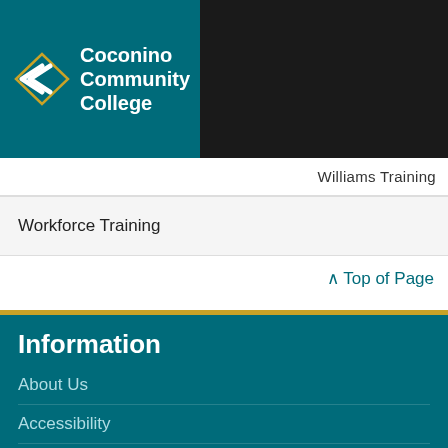[Figure (logo): Coconino Community College logo with teal background, white chevron arrows and white text reading Coconino Community College]
Williams Training
Workforce Training
^ Top of Page
Information
About Us
Accessibility
CCC Grants
Consumer Information
Contact Us
District Governing Board